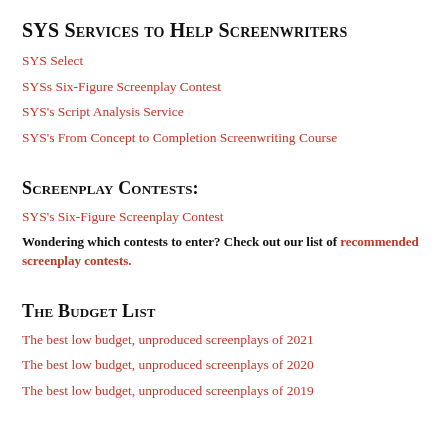SYS Services to Help Screenwriters
SYS Select
SYSs Six-Figure Screenplay Contest
SYS's Script Analysis Service
SYS's From Concept to Completion Screenwriting Course
Screenplay Contests:
SYS's Six-Figure Screenplay Contest
Wondering which contests to enter? Check out our list of recommended screenplay contests.
The Budget List
The best low budget, unproduced screenplays of 2021
The best low budget, unproduced screenplays of 2020
The best low budget, unproduced screenplays of 2019